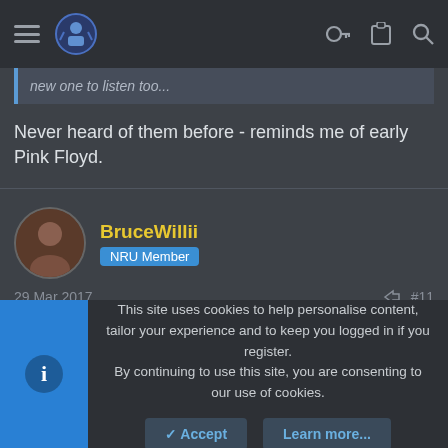Navigation bar with hamburger menu, logo, key icon, clipboard icon, search icon
new one to listen too...
Never heard of them before - reminds me of early Pink Floyd.
BruceWillii
NRU Member
29 Mar 2017  #11
glenwilson said:
This site uses cookies to help personalise content, tailor your experience and to keep you logged in if you register.
By continuing to use this site, you are consenting to our use of cookies.
✓ Accept   Learn more...